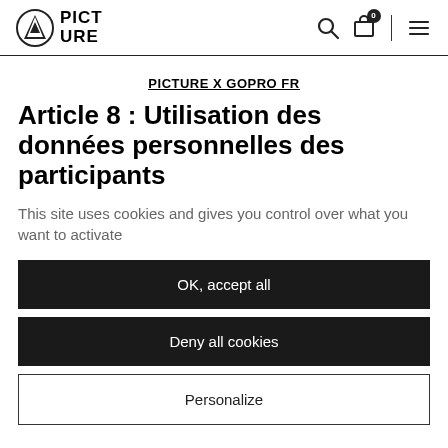PICTURE (logo) | Search | Cart (0) | Menu
PICTURE X GOPRO FR
Article 8 : Utilisation des données personnelles des participants
This site uses cookies and gives you control over what you want to activate
OK, accept all
Deny all cookies
Personalize